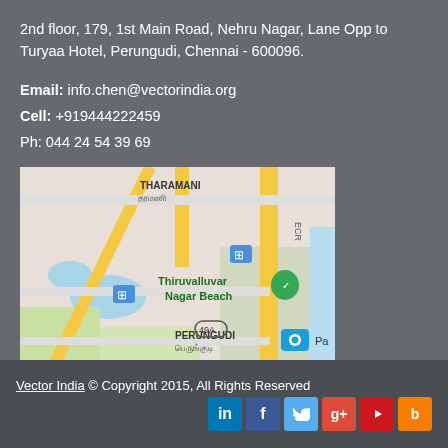2nd floor, 179, 1st Main Road, Nehru Nagar, Lane Opp to Turyaa Hotel, Perungudi, Chennai - 600096.
Email: info.chen@vectorindia.org
Cell: +919444222459
Ph: 044 24 54 39 69
[Figure (map): Google Maps screenshot showing Thiruvalluvar Nagar Beach area, Perungudi, Chennai with THARAMANI label, ECR road, route 49A, and two bus stop markers]
Vector India © Copyright 2015, All Rights Reserved